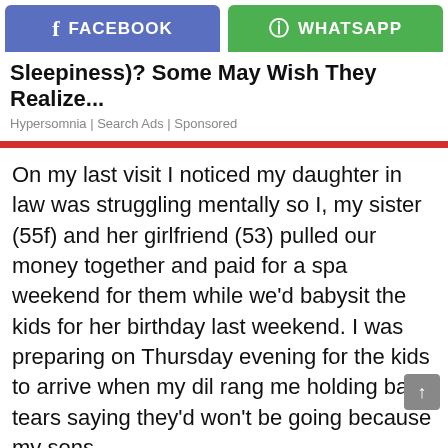[Figure (screenshot): Two share buttons: Facebook (blue) and WhatsApp (green)]
Sleepiness)? Some May Wish They Realize...
Hypersomnia | Search Ads | Sponsored
On my last visit I noticed my daughter in law was struggling mentally so I, my sister (55f) and her girlfriend (53) pulled our money together and paid for a spa weekend for them while we'd babysit the kids for her birthday last weekend. I was preparing on Thursday evening for the kids to arrive when my dil rang me holding back tears saying they'd won't be going because my sons
60-Year-Old Mother Humiliates Son In Front Of His Friends Because He Wouldn't Do A...